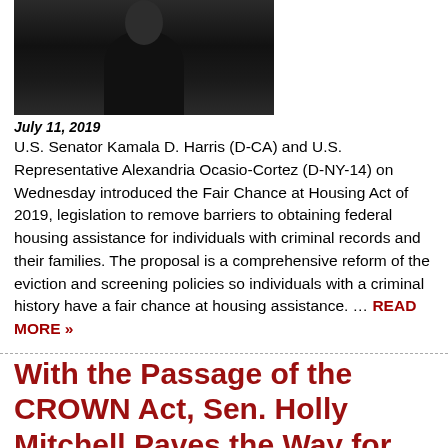[Figure (photo): Photo of a person wearing a black outfit, cropped to show upper body and head area, dark background]
July 11, 2019
U.S. Senator Kamala D. Harris (D-CA) and U.S. Representative Alexandria Ocasio-Cortez (D-NY-14) on Wednesday introduced the Fair Chance at Housing Act of 2019, legislation to remove barriers to obtaining federal housing assistance for individuals with criminal records and their families. The proposal is a comprehensive reform of the eviction and screening policies so individuals with a criminal history have a fair chance at housing assistance. … READ MORE »
With the Passage of the CROWN Act, Sen. Holly Mitchell Paves the Way for Natural Hair Acceptance